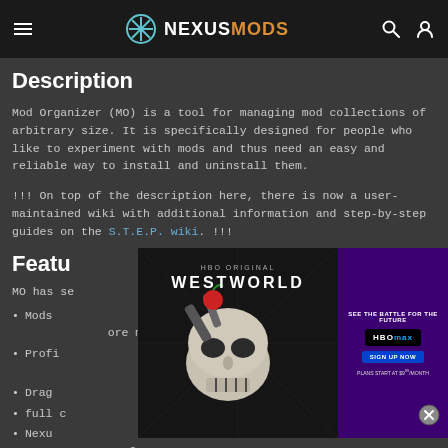NEXUSMODS
Description
Mod Organizer (MO) is a tool for managing mod collections of arbitrary size. It is specifically designed for people who like to experiment with mods and thus need an easy and reliable way to install and uninstall them.
!!! On top of the description here, there is now a user-maintained wiki with additional information and step-by-step guides on the S.T.E.P. wiki. !!!
Features
MO has se... ble tool:
Mods... ore mes...
Profi...
Drag...
full c...
Nexu... e of
[Figure (advertisement): Westworld HBO Max advertisement overlay showing a skull robot hand holding an apple, with HBO Max sign up promotion on the right side]